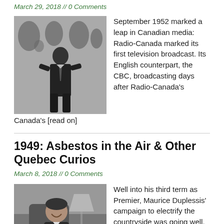March 29, 2018 // 0 Comments
[Figure (photo): Black and white photo of a man standing in front of a world map backdrop]
September 1952 marked a leap in Canadian media: Radio-Canada marked its first television broadcast. Its English counterpart, the CBC, broadcasting days after Radio-Canada's [read on]
1949: Asbestos in the Air & Other Quebec Curios
March 8, 2018 // 0 Comments
[Figure (photo): Black and white photo of a man (Maurice Duplessis) sitting and smiling]
Well into his third term as Premier, Maurice Duplessis' campaign to electrify the countryside was going well, while his operation that imprisoned hundreds of